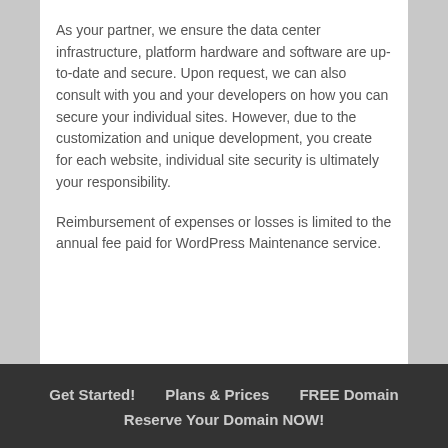As your partner, we ensure the data center infrastructure, platform hardware and software are up-to-date and secure. Upon request, we can also consult with you and your developers on how you can secure your individual sites. However, due to the customization and unique development, you create for each website, individual site security is ultimately your responsibility.
Reimbursement of expenses or losses is limited to the annual fee paid for WordPress Maintenance service.
Get Started!   Plans & Prices   FREE Domain   Reserve Your Domain NOW!